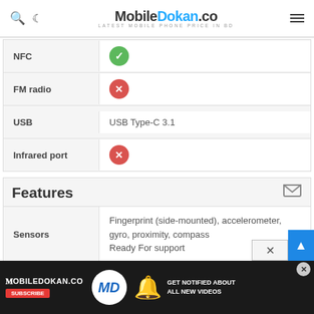MobileDokan.co — Latest Mobile Phone Price in BD
| Feature | Value |
| --- | --- |
| NFC | Yes (checkmark) |
| FM radio | No (cross) |
| USB | USB Type-C 3.1 |
| Infrared port | No (cross) |
Features
| Feature | Value |
| --- | --- |
| Sensors | Fingerprint (side-mounted), accelerometer, gyro, proximity, compass
Ready For support |
| Messaging | SMS(threaded view), MMS, Email, IM |
| Browser |  |
| Java |  |
[Figure (screenshot): MobileDokan.co advertisement banner at bottom of page with subscribe call to action and 'Get Notified About All New Videos' text]